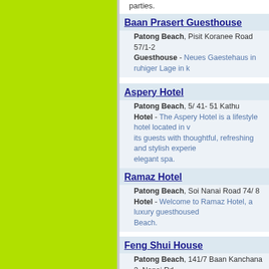parties.
Baan Prasert Guesthouse - Patong Beach, Pisit Koranee Road 57/1-2 - Guesthouse - Neues Gaestehaus in ruhiger Lage in...
Aspery Hotel - Patong Beach, 5/41-51 Kathu - Hotel - The Aspery Hotel is a lifestyle hotel located in... its guests with thoughtful, refreshing and stylish experie... elegant spa.
Ramaz Hotel - Patong Beach, Soi Nanai Road 74/8 - Hotel - Welcome to Ramaz Hotel, a luxury guesthouse... Beach.
Feng Shui House - Patong Beach, 141/7 Baan Kanchana 2, Nanai Rd... - Guesthouse - Above standard guesthouse at afforda...
Casa Bonita Guesthouse - Patong Beach, Soi Ban Zaan Nanai Road 74/45 - Guesthouse - Our guesthouse is 5 minutes from dow... beach.
Me Hostels - Patong Beach, 69/1 Soi Koknam - Hostel - Great Hostel! Fun crew, cheap beers and a 5...